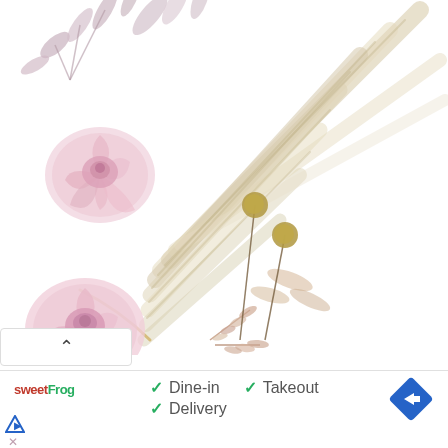[Figure (illustration): Watercolor floral illustration with pink roses, dried palm leaves in tan/cream, purple/mauve foliage, and golden spherical berries on stems, arranged in the upper-left corner of the page on a white background.]
✓ Dine-in   ✓ Takeout
✓ Delivery
[Figure (logo): sweetFrog logo in red and green text]
[Figure (other): Blue diamond-shaped navigation/directions icon with white arrow pointing right]